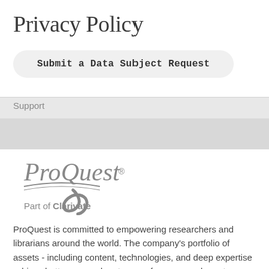Privacy Policy
Submit a Data Subject Request
Support
[Figure (logo): ProQuest logo with tagline 'Part of Clarivate']
ProQuest is committed to empowering researchers and librarians around the world. The company's portfolio of assets - including content, technologies, and deep expertise - drives better research outcomes for users and greater efficiency for the libraries and organizations that serve them.